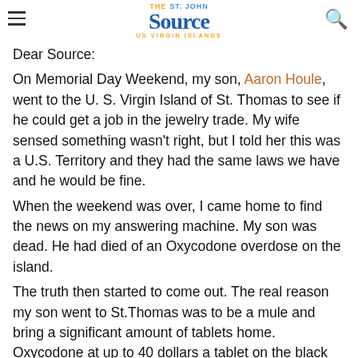THE St. John Source US VIRGIN ISLANDS
Dear Source:
On Memorial Day Weekend, my son, Aaron Houle, went to the U. S. Virgin Island of St. Thomas to see if he could get a job in the jewelry trade. My wife sensed something wasn't right, but I told her this was a U.S. Territory and they had the same laws we have and he would be fine.
When the weekend was over, I came home to find the news on my answering machine. My son was dead. He had died of an Oxycodone overdose on the island.
The truth then started to come out. The real reason my son went to St.Thomas was to be a mule and bring a significant amount of tablets home. Oxycodone at up to 40 dollars a tablet on the black market would more than pay for his trip that he thought his so called friend was paying.
It seems there was one doctor more than willing to write the prescription. A person claiming to be the doctor in question called my sons girlfriend and told her my son had stolen his prescription pad.